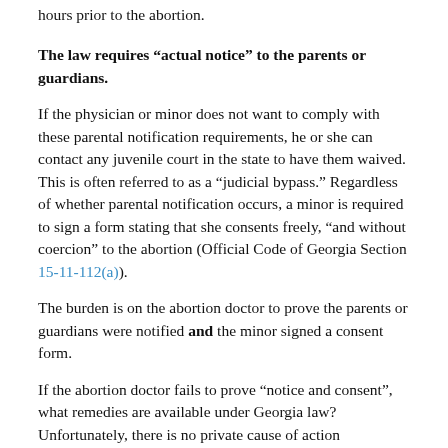hours prior to the abortion.
The law requires “actual notice” to the parents or guardians.
If the physician or minor does not want to comply with these parental notification requirements, he or she can contact any juvenile court in the state to have them waived. This is often referred to as a “judicial bypass.” Regardless of whether parental notification occurs, a minor is required to sign a form stating that she consents freely, “and without coercion” to the abortion (Official Code of Georgia Section 15-11-112(a)).
The burden is on the abortion doctor to prove the parents or guardians were notified and the minor signed a consent form.
If the abortion doctor fails to prove “notice and consent”, what remedies are available under Georgia law? Unfortunately, there is no private cause of action